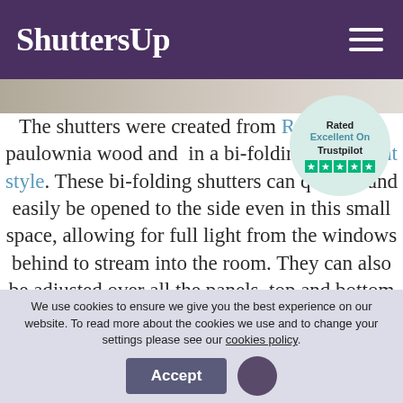ShuttersUp
[Figure (photo): Narrow horizontal photo strip showing shutters/interior]
[Figure (infographic): Trustpilot badge: Rated Excellent On Trustpilot with 5 green stars]
The shutters were created from Range using paulownia wood and in a bi-folding full height style. These bi-folding shutters can quickly and easily be opened to the side even in this small space, allowing for full light from the windows behind to stream into the room. They can also be adjusted over all the panels, top and bottom thanks to the mid rail that was
We use cookies to ensure we give you the best experience on our website. To read more about the cookies we use and to change your settings please see our cookies policy.